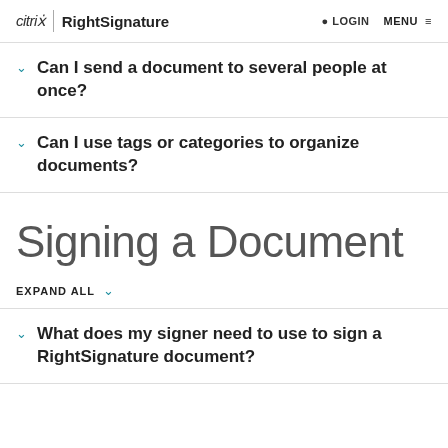citrix | RightSignature    LOGIN   MENU
Can I send a document to several people at once?
Can I use tags or categories to organize documents?
Signing a Document
EXPAND ALL
What does my signer need to use to sign a RightSignature document?